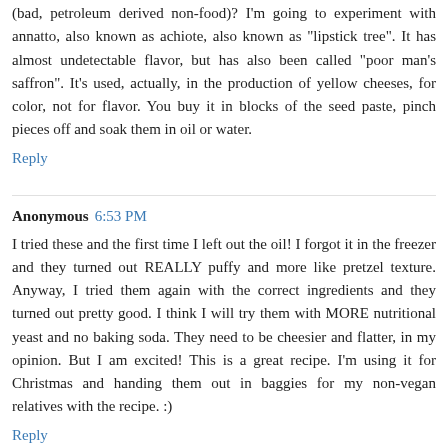(bad, petroleum derived non-food)? I'm going to experiment with annatto, also known as achiote, also known as "lipstick tree". It has almost undetectable flavor, but has also been called "poor man's saffron". It's used, actually, in the production of yellow cheeses, for color, not for flavor. You buy it in blocks of the seed paste, pinch pieces off and soak them in oil or water.
Reply
Anonymous 6:53 PM
I tried these and the first time I left out the oil! I forgot it in the freezer and they turned out REALLY puffy and more like pretzel texture. Anyway, I tried them again with the correct ingredients and they turned out pretty good. I think I will try them with MORE nutritional yeast and no baking soda. They need to be cheesier and flatter, in my opinion. But I am excited! This is a great recipe. I'm using it for Christmas and handing them out in baggies for my non-vegan relatives with the recipe. :)
Reply